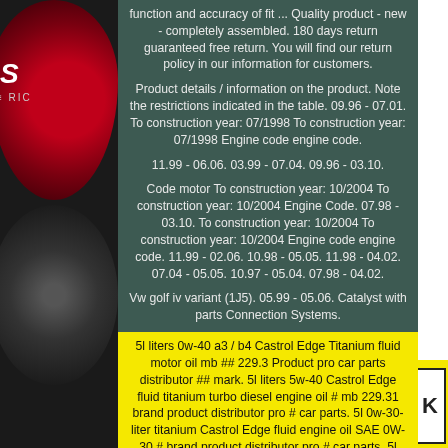function and accuracy of fit ... Quality product - new - completely assembled. 180 days return guaranteed free return. You will find our return policy in our information for customers.
Product details / information on the product. Note the restrictions indicated in the table. 09.96 - 07.01. To construction year: 07/1998 To construction year: 07/1998 Engine code engine code.
11.99 - 06.06. 03.99 - 07.04. 09.96 - 03.10.
Code motor To construction year: 10/2004 To construction year: 10/2004 Engine Code. 07.98 - 03.10. To construction year: 10/2004 To construction year: 10/2004 Engine code engine code. 11.99 - 02.06. 10.98 - 05.05. 11.98 - 04.02. 07.04 - 05.05. 10.97 - 05.04. 07.98 - 04.02.
Vw golf iv variant (1J5). 05.99 - 05.06. Catalyst with parts Connection Systems.
5l liters 0w-40 a3 / b4 Castrol Edge Titanium fluid motor oil mb ## 229.3 Product pro car parts distributor ## mark. 5l liters 5w-40 Castrol Edge fluid titanium turbo diesel engine oil # mb 229.31 brand product distributor pro # car parts. 5l 0w-30-liter titanium Castrol Edge fluid engine oil SAE 0W-30 # brand product distributor pro # car parts. 5l